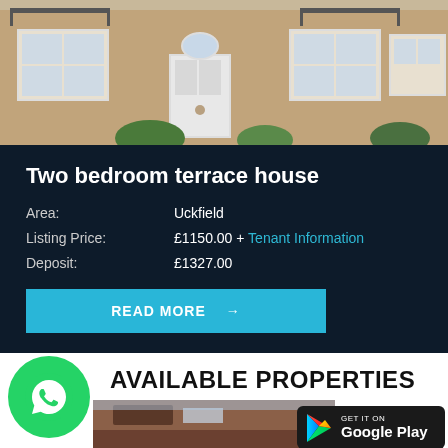[Figure (photo): Exterior photo of a brick terrace house with white-framed windows and a white front door]
Two bedroom terrace house
Area: Uckfield
Listing Price: £1150.00 + Tenant Information
Deposit: £1327.00
READ MORE →
AVAILABLE PROPERTIES
[Figure (photo): Exterior photo of a brick building roof]
[Figure (logo): WhatsApp icon in green circle]
[Figure (logo): Google Play badge - Get it on Google Play]